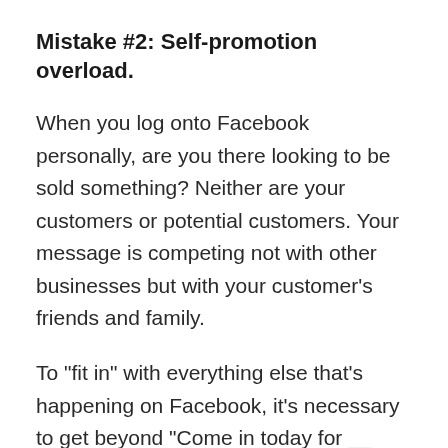Mistake #2: Self-promotion overload.
When you log onto Facebook personally, are you there looking to be sold something? Neither are your customers or potential customers. Your message is competing not with other businesses but with your customer's friends and family.
To "fit in" with everything else that's happening on Facebook, it's necessary to get beyond "Come in today for __ special!" People want to be informed, entertained, motivated. So, to get your audience engaged, it's your responsibility to b...